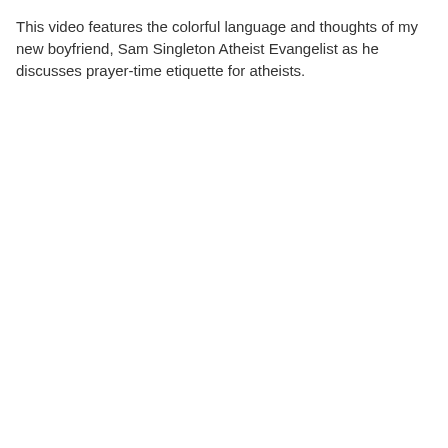This video features the colorful language and thoughts of my new boyfriend, Sam Singleton Atheist Evangelist as he discusses prayer-time etiquette for atheists.